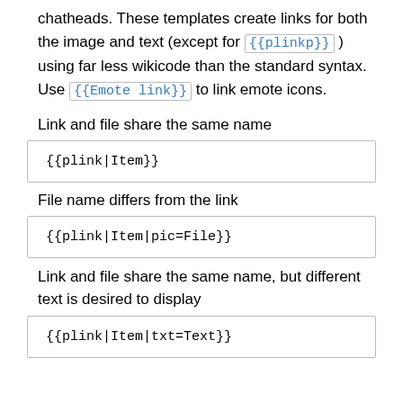chatheads. These templates create links for both the image and text (except for {{plinkp}} ) using far less wikicode than the standard syntax. Use {{Emote link}} to link emote icons.
Link and file share the same name
{{plink|Item}}
File name differs from the link
{{plink|Item|pic=File}}
Link and file share the same name, but different text is desired to display
{{plink|Item|txt=Text}}